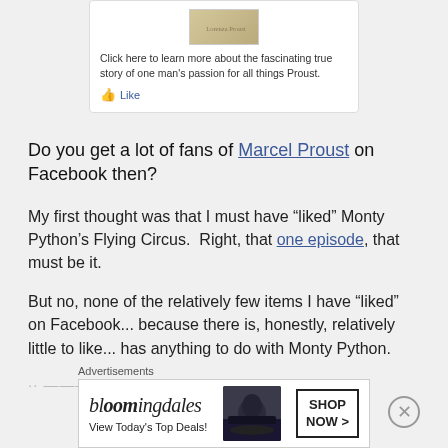[Figure (screenshot): Facebook-style card with book image, text 'Click here to learn more about the fascinating true story of one man's passion for all things Proust.' and a Like button]
Do you get a lot of fans of Marcel Proust on Facebook then?
My first thought was that I must have “liked” Monty Python’s Flying Circus.  Right, that one episode, that must be it.
But no, none of the relatively few items I have “liked” on Facebook... because there is, honestly, relatively little to like... has anything to do with Monty Python.
[Figure (screenshot): Bloomingdale's advertisement banner: 'bloomingdales - View Today's Top Deals!' with woman in hat and 'SHOP NOW >' button]